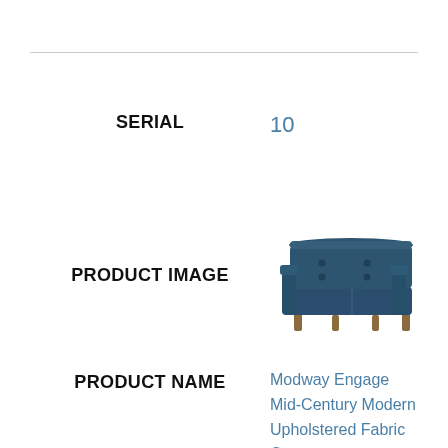SERIAL
10
PRODUCT IMAGE
[Figure (photo): A dark navy/blue mid-century modern corner sofa chair with tufted back cushions and wooden legs]
PRODUCT NAME
Modway Engage Mid-Century Modern Upholstered Fabric Corner